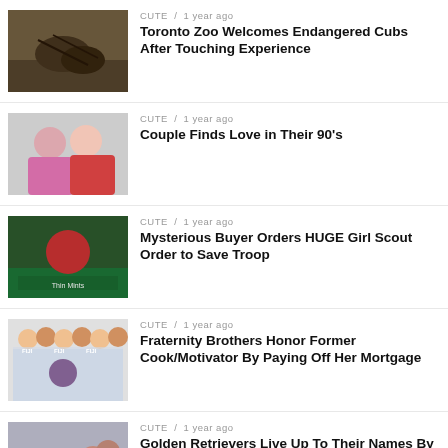CUTE / 1 year ago
Toronto Zoo Welcomes Endangered Cubs After Touching Experience
CUTE / 1 year ago
Couple Finds Love in Their 90's
CUTE / 1 year ago
Mysterious Buyer Orders HUGE Girl Scout Order to Save Troop
CUTE / 1 year ago
Fraternity Brothers Honor Former Cook/Motivator By Paying Off Her Mortgage
CUTE / 1 year ago
Golden Retrievers Live Up To Their Names By Retrieving And Delivering Beers Amidst Pandemic